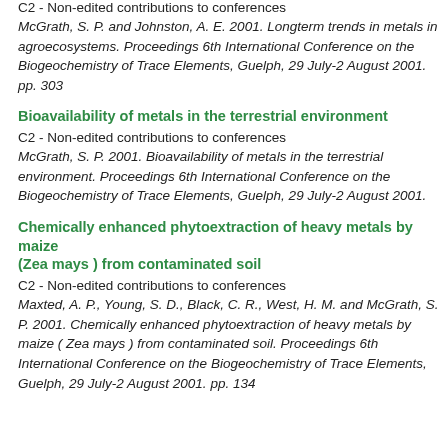C2 - Non-edited contributions to conferences
McGrath, S. P. and Johnston, A. E. 2001. Longterm trends in metals in agroecosystems. Proceedings 6th International Conference on the Biogeochemistry of Trace Elements, Guelph, 29 July-2 August 2001. pp. 303
Bioavailability of metals in the terrestrial environment
C2 - Non-edited contributions to conferences
McGrath, S. P. 2001. Bioavailability of metals in the terrestrial environment. Proceedings 6th International Conference on the Biogeochemistry of Trace Elements, Guelph, 29 July-2 August 2001.
Chemically enhanced phytoextraction of heavy metals by maize (Zea mays ) from contaminated soil
C2 - Non-edited contributions to conferences
Maxted, A. P., Young, S. D., Black, C. R., West, H. M. and McGrath, S. P. 2001. Chemically enhanced phytoextraction of heavy metals by maize (Zea mays ) from contaminated soil. Proceedings 6th International Conference on the Biogeochemistry of Trace Elements, Guelph, 29 July-2 August 2001. pp. 134